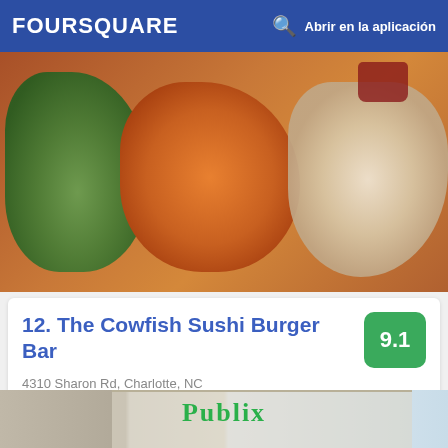FOURSQUARE  Abrir en la aplicación
[Figure (photo): Close-up photo of food items including green snap peas, orange sweet potato fries, and a white/light colored salad on a tray]
12. The Cowfish Sushi Burger Bar
4310 Sharon Rd, Charlotte, NC
Restaurante de sushi · 240 tips y reseñas
Giselle Medina: Cow fish bento box sushi and burger sampler
[Figure (photo): Bottom strip showing Publix grocery store exterior sign with green letters on beige building facade and blue sky]